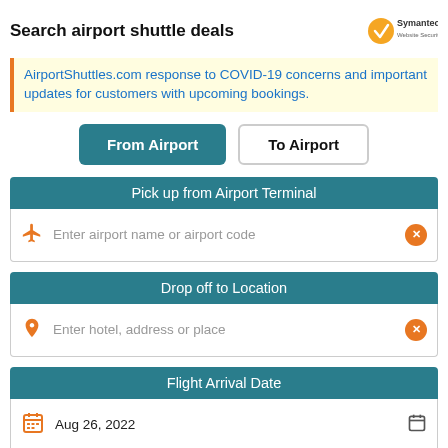Search airport shuttle deals
[Figure (logo): Symantec Website Security checkmark badge logo]
AirportShuttles.com response to COVID-19 concerns and important updates for customers with upcoming bookings.
[Figure (screenshot): From Airport and To Airport toggle buttons]
Pick up from Airport Terminal
Enter airport name or airport code
Drop off to Location
Enter hotel, address or place
Flight Arrival Date
Aug 26, 2022
Flight Arrival Time